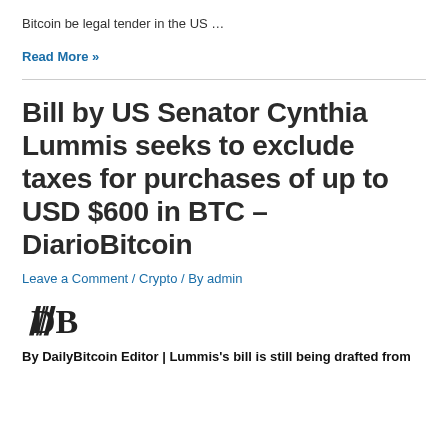Bitcoin be legal tender in the US …
Read More »
Bill by US Senator Cynthia Lummis seeks to exclude taxes for purchases of up to USD $600 in BTC – DiarioBitcoin
Leave a Comment / Crypto / By admin
[Figure (logo): DiarioBitcoin logo with stylized DB letters in blackletter/gothic font]
By DailyBitcoin Editor | Lummis's bill is still being drafted from